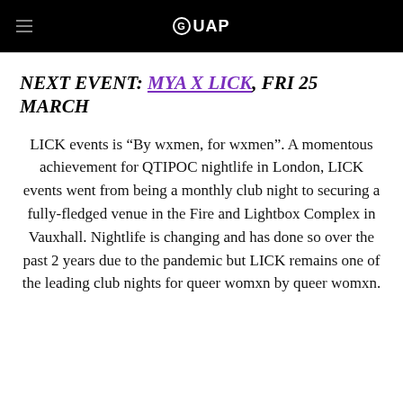GUAP
NEXT EVENT: MYA X LICK, FRI 25 MARCH
LICK events is “By wxmen, for wxmen”. A momentous achievement for QTIPOC nightlife in London, LICK events went from being a monthly club night to securing a fully-fledged venue in the Fire and Lightbox Complex in Vauxhall. Nightlife is changing and has done so over the past 2 years due to the pandemic but LICK remains one of the leading club nights for queer womxn by queer womxn.